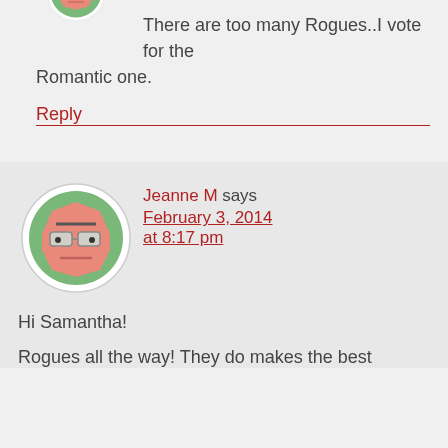There are too many Rogues..I vote for the Romantic one.
Reply
[Figure (illustration): Cartoon avatar icon: octagonal face with sunglasses, salmon/pink color on green circle background]
Jeanne M says February 3, 2014 at 8:17 pm
Hi Samantha!
Rogues all the way! They do makes the best